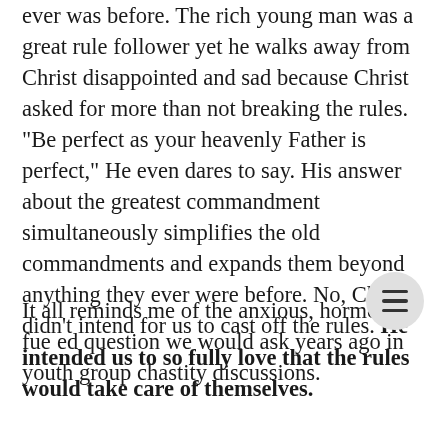ever was before.  The rich young man was a great rule follower yet he walks away from Christ disappointed and sad because Christ asked for more than not breaking the rules.  "Be perfect as your heavenly Father is perfect," He even dares to say.  His answer about the greatest commandment simultaneously simplifies the old commandments and expands them beyond anything they ever were before.  No, Christ didn't intend for us to cast off the rules.  He intended us to so fully love that the rules would take care of themselves.
It all reminds me of the anxious, hormone-fueled question we would ask years ago in youth group chastity discussions.